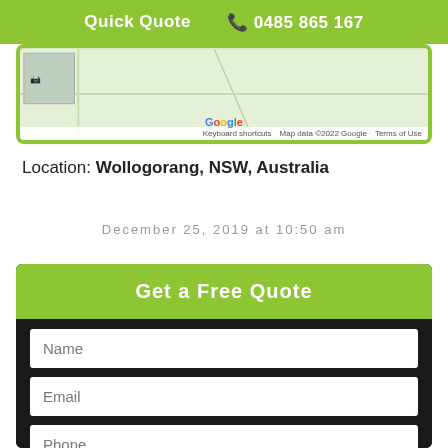Quick Quote  📞 0485 865 167
[Figure (screenshot): Partial Google Maps screenshot showing map area with keyboard shortcuts, Map data ©2022 Google, Terms of Use labels]
Location: Wollogorang, NSW, Australia
December 25, 2019 at 10:50 am
Get a Free Quote
Name
Email
Phone